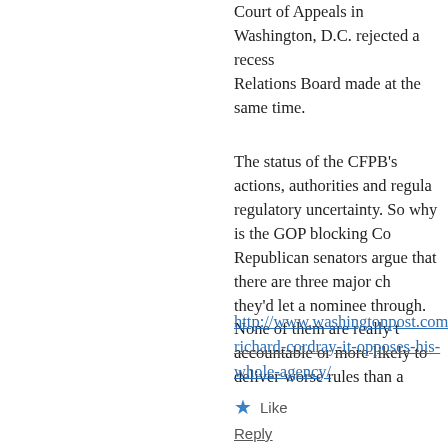Court of Appeals in Washington, D.C. rejected a recess appointment to the National Labor Relations Board made at the same time.
The status of the CFPB's actions, authorities and regulations is now in question, adding to regulatory uncertainty. So why is the GOP blocking Cordray's confirmation? Republican senators argue that there are three major changes they'd need before they'd let a nominee through. None of them are really that likely to make the CFPB more accountable or more likely to deliver worse rules than a director would.
http://www.washingtonpost.com/blogs/wonkblog/wp/2... richard-cordray-it-opposes-his-whole-agency/
Like
Reply
rikyrah says:
May 25, 2013 at 9:48 pm